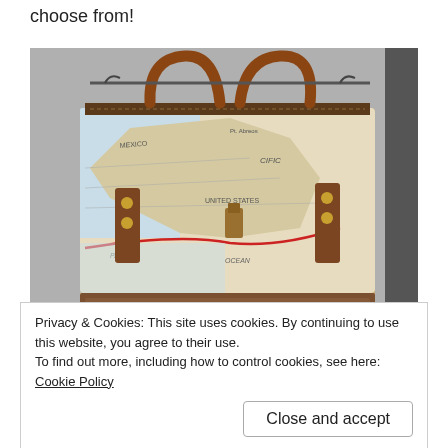choose from!
[Figure (photo): A handbag with a vintage map print on the upper portion and brown embossed leather on the lower portion, with brown leather handles and metal hardware, displayed hanging on a rack.]
Privacy & Cookies: This site uses cookies. By continuing to use this website, you agree to their use.
To find out more, including how to control cookies, see here: Cookie Policy
Close and accept
[Figure (photo): Partial view of another item below the cookie banner.]